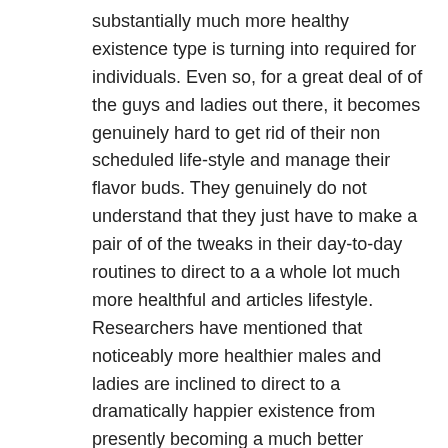substantially much more healthy existence type is turning into required for individuals. Even so, for a great deal of of the guys and ladies out there, it becomes genuinely hard to get rid of their non scheduled life-style and manage their flavor buds. They genuinely do not understand that they just have to make a pair of of the tweaks in their day-to-day routines to direct to a a whole lot much more healthful and articles lifestyle. Researchers have mentioned that noticeably more healthier males and ladies are inclined to direct to a dramatically happier existence from presently becoming a much better companion, mom or father, or even specialist. Pretty than executing every thing extra, even getting an further hour of sleep for every and every single night time do have an huge affect on your psychological as correctly as all spherical bodily all spherical wellness.
In this publish, we have enlisted handful of of the easy nonetheless vital tips that will support a particular to lead